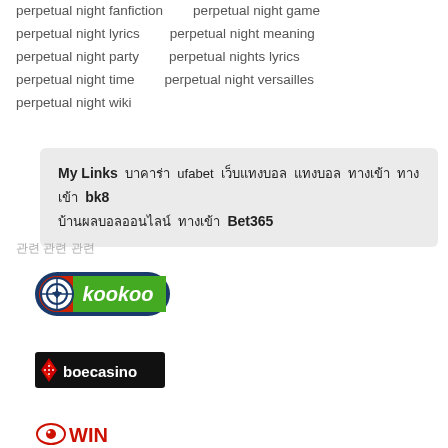perpetual night fanfiction   perpetual night game
perpetual night lyrics   perpetual night meaning
perpetual night party   perpetual nights lyrics
perpetual night time   perpetual night versailles
perpetual night wiki
My Links  บาคาร่า ufabet เว็บแทงบอล แทงบอล ทางเข้า ทางเข้า bk8 บ้านผลบอลออนไลน์ ทางเข้า Bet365
관련 관련 관련
[Figure (logo): kookoo logo with green text and circular icon]
[Figure (logo): boecasino logo with white text on black background and diamond icon]
[Figure (logo): WIN logo partial]